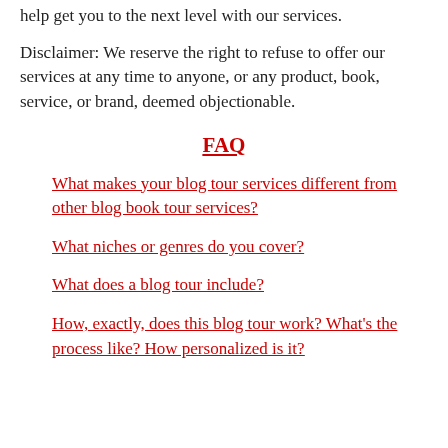help get you to the next level with our services.
Disclaimer: We reserve the right to refuse to offer our services at any time to anyone, or any product, book, service, or brand, deemed objectionable.
FAQ
What makes your blog tour services different from other blog book tour services?
What niches or genres do you cover?
What does a blog tour include?
How, exactly, does this blog tour work? What’s the process like? How personalized is it?